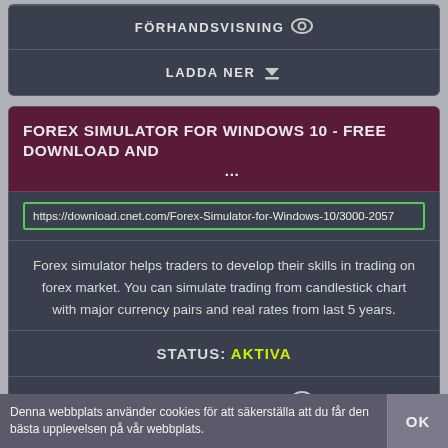FÖRHANDSVISNING
LADDA NER
FOREX SIMULATOR FOR WINDOWS 10 - FREE DOWNLOAD AND ...
https://download.cnet.com/Forex-Simulator-for-Windows-10/3000-2057
Forex simulator helps traders to develop their skills in trading on forex market. You can simulate trading from candlestick chart with major currency pairs and real rates from last 5 years.
STATUS: AKTIVA
FÖRHANDSVISNING
LADDA NER
Denna webbplats använder cookies för att säkerställa att du får den bästa upplevelsen på vår webbplats.